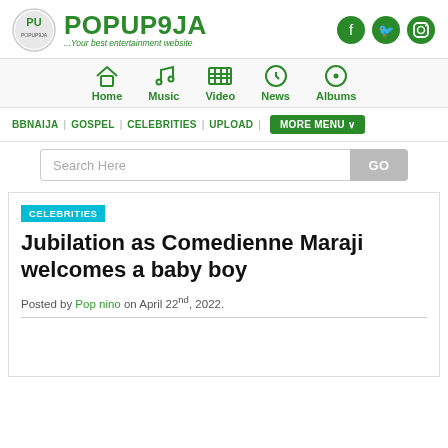POPUP9JA ...Your best entertainment website
[Figure (logo): POPUP9JA logo circle and social media icons (Facebook, Twitter, Instagram)]
[Figure (infographic): Navigation bar with icons for Home, Music, Video, News, Albums]
BBNAIJA | GOSPEL | CELEBRITIES | UPLOAD | MORE MENU
Search Here GO
CELEBRITIES
Jubilation as Comedienne Maraji welcomes a baby boy
Posted by Pop nino on April 22nd, 2022.